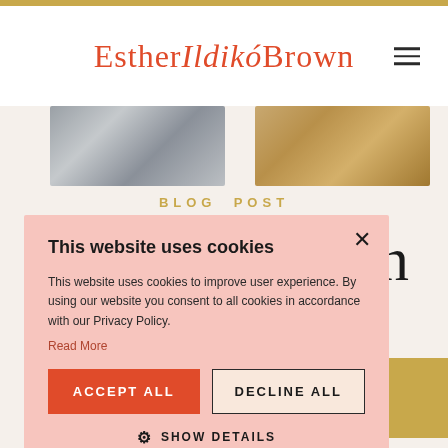Esther Ildikó Brown
[Figure (photo): Two partial images: marble texture on left, wood texture on right]
BLOG POST
Ok In r mail
This website uses cookies
This website uses cookies to improve user experience. By using our website you consent to all cookies in accordance with our Privacy Policy.
Read More
ACCEPT ALL
DECLINE ALL
SHOW DETAILS